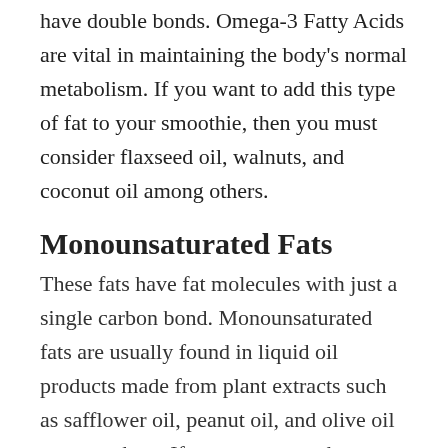have double bonds. Omega-3 Fatty Acids are vital in maintaining the body's normal metabolism. If you want to add this type of fat to your smoothie, then you must consider flaxseed oil, walnuts, and coconut oil among others.
Monounsaturated Fats
These fats have fat molecules with just a single carbon bond. Monounsaturated fats are usually found in liquid oil products made from plant extracts such as safflower oil, peanut oil, and olive oil among others. If you want to make a healthy smoothie, you can find such type of fat from avocados, macadamia nuts, and peanut butter.
Important Note: make sure that you use the oil